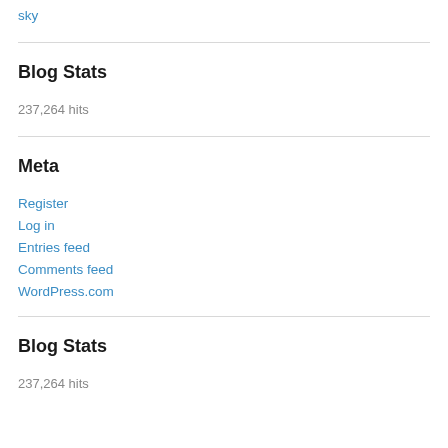sky
Blog Stats
237,264 hits
Meta
Register
Log in
Entries feed
Comments feed
WordPress.com
Blog Stats
237,264 hits